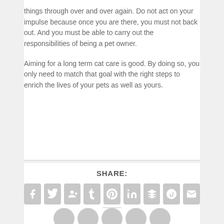things through over and over again. Do not act on your impulse because once you are there, you must not back out. And you must be able to carry out the responsibilities of being a pet owner.

Aiming for a long term cat care is good. By doing so, you only need to match that goal with the right steps to enrich the lives of your pets as well as yours.
SHARE:
[Figure (infographic): Social media share buttons: Facebook, Twitter, Google+, Tumblr, Pinterest, LinkedIn, Buffer, StumbleUpon, Email, Print]